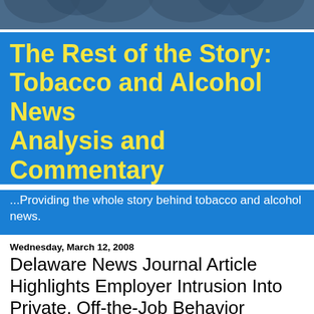[Figure (illustration): Decorative header graphic with dark blue/teal background and abstract leaf or petal shapes]
The Rest of the Story: Tobacco and Alcohol News Analysis and Commentary
...Providing the whole story behind tobacco and alcohol news.
Wednesday, March 12, 2008
Delaware News Journal Article Highlights Employer Intrusion Into Private, Off-the-Job Behavior
An article in Monday's Delaware News Journal highlights the growing trend of employer intrusion into the private, lawful, off-the-job behavior of employees, especially in the area of smoking behavior.